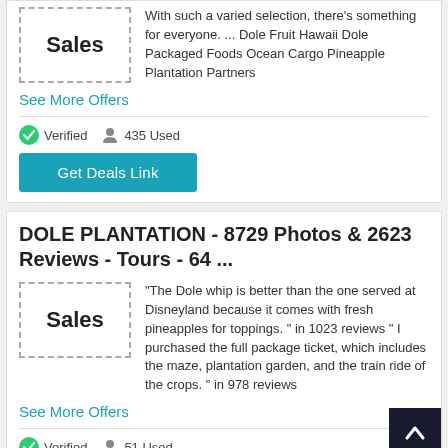With such a varied selection, there's something for everyone. ... Dole Fruit Hawaii Dole Packaged Foods Ocean Cargo Pineapple Plantation Partners
See More Offers
Verified   435 Used
Get Deals Link
DOLE PLANTATION - 8729 Photos & 2623 Reviews - Tours - 64 ...
"The Dole whip is better than the one served at Disneyland because it comes with fresh pineapples for toppings. " in 1023 reviews " I purchased the full package ticket, which includes the maze, plantation garden, and the train ride of the crops. " in 978 reviews
See More Offers
Verified   51 Used
Get Deals Link